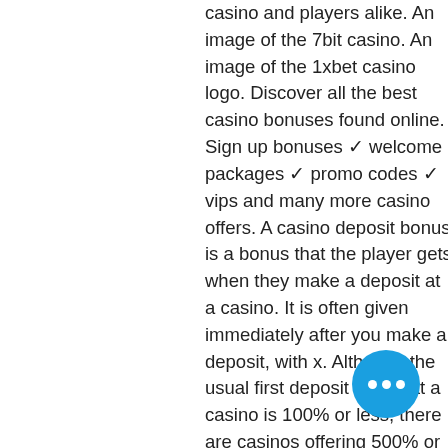casino and players alike. An image of the 7bit casino. An image of the 1xbet casino logo. Discover all the best casino bonuses found online. Sign up bonuses ✓ welcome packages ✓ promo codes ✓ vips and many more casino offers. A casino deposit bonus is a bonus that the player gets when they make a deposit at a casino. It is often given immediately after you make a deposit, with x. Although the usual first deposit bonus at a casino is 100% or less, there are casinos offering 500% or even 750% first deposit bonuses. However, it tends to. We have a fantastic casino deposit bonus for you: 50 free spins on starburst. Online casinos are growing in numbers with new sites popping up each year. All our casinobonus offers are in one place, including the exciting casino races we have to offer! as a major welcome bonus casino, we also know that the fi... Redeem the casino welcome bonus on... first deposit. Instantly collect your bonus. If
[Figure (other): Blue circular chat button with three white dots]